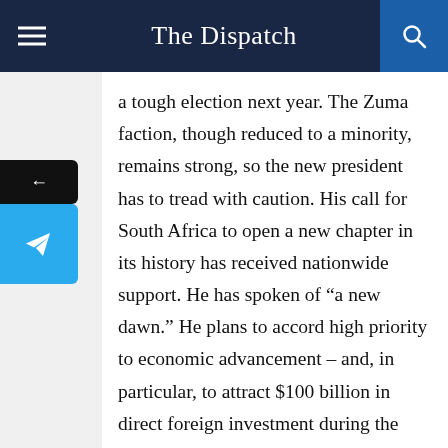The Dispatch
a tough election next year. The Zuma faction, though reduced to a minority, remains strong, so the new president has to tread with caution. His call for South Africa to open a new chapter in its history has received nationwide support. He has spoken of “a new dawn.” He plans to accord high priority to economic advancement – and, in particular, to attract $100 billion in direct foreign investment during the next five years.
The Indian angle